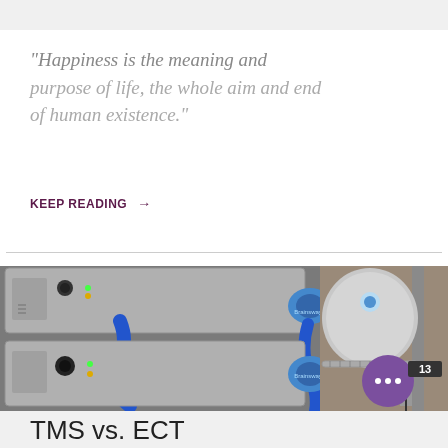“Happiness is the meaning and purpose of life, the whole aim and end of human existence.”
KEEP READING →
[Figure (photo): TMS (Transcranial Magnetic Stimulation) medical device equipment - Brainsway brand machines with blue cables and a helmet-shaped treatment head mounted on wall bracket]
TMS vs. ECT